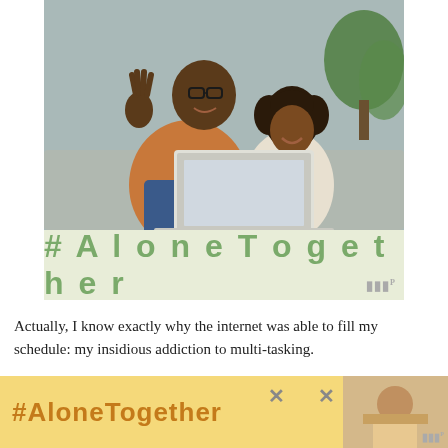[Figure (photo): A man and a young girl sitting on a couch, both smiling and waving at a laptop screen in a video call. Indoor setting with plants visible in background.]
#AloneTogether
Actually, I know exactly why the internet was able to fill my schedule: my insidious addiction to multi-tasking.
I've spent the last, oh, sixteen years of my life running around like the proverbial headless chicken, completing each responsibility roughly 5 milliseconds before its due, and dealing with the not-infrequent crisis when a deadline
[Figure (infographic): Bottom advertisement banner showing #AloneTogether hashtag in orange text on yellow background with a photo of a woman on the right side and two X close buttons.]